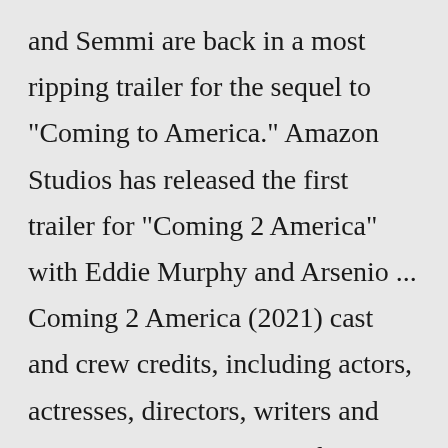and Semmi are back in a most ripping trailer for the sequel to "Coming to America." Amazon Studios has released the first trailer for "Coming 2 America" with Eddie Murphy and Arsenio ... Coming 2 America (2021) cast and crew credits, including actors, actresses, directors, writers and more. Menu. Movies. ... choir singer (as RaVaughn Brown) Alvin Chea ... choir singer Pedro Eustache ... musician: African